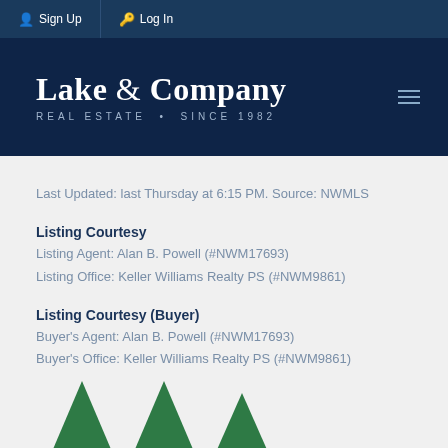Sign Up  Log In
[Figure (logo): Lake & Company Real Estate Since 1982 logo on dark navy background with hamburger menu icon]
Last Updated: last Thursday at 6:15 PM. Source: NWMLS
Listing Courtesy
Listing Agent: Alan B. Powell (#NWM17693)
Listing Office: Keller Williams Realty PS (#NWM9861)
Listing Courtesy (Buyer)
Buyer's Agent: Alan B. Powell (#NWM17693)
Buyer's Office: Keller Williams Realty PS (#NWM9861)
[Figure (illustration): Three green triangle tree/mountain shapes at bottom of page]